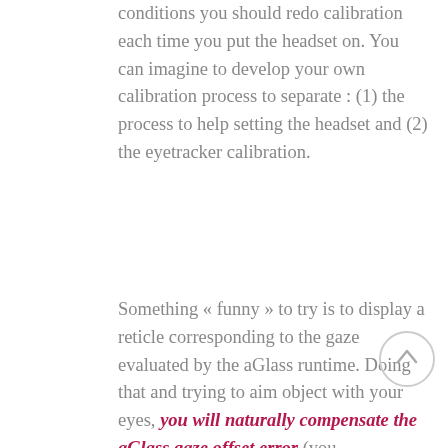conditions you should redo calibration each time you put the headset on. You can imagine to develop your own calibration process to separate : (1) the process to help setting the headset and (2) the eyetracker calibration.
Something « funny » to try is to display a reticle corresponding to the gaze evaluated by the aGlass runtime. Doing that and trying to aim object with your eyes, you will naturally compensate the aGlass gaze offset error (you